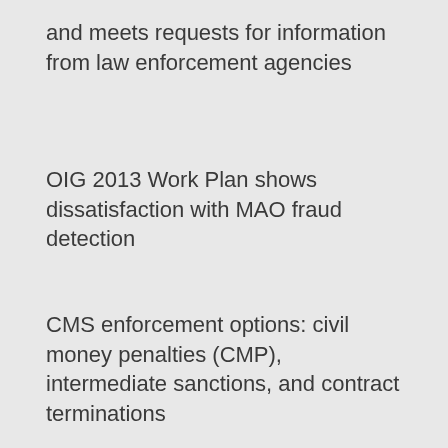and meets requests for information from law enforcement agencies
OIG 2013 Work Plan shows dissatisfaction with MAO fraud detection
CMS enforcement options: civil money penalties (CMP), intermediate sanctions, and contract terminations
Questions ???
GET THIS OR ORDER A SIMILAR P